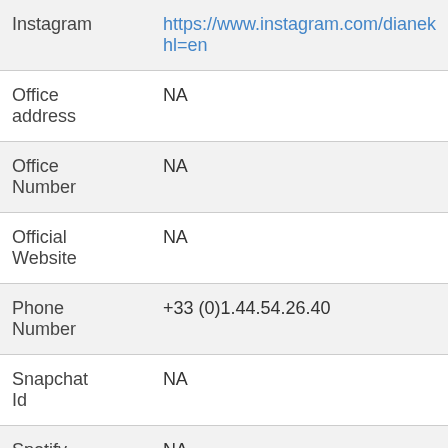| Field | Value |
| --- | --- |
| Instagram | https://www.instagram.com/dianek…hl=en |
| Office address | NA |
| Office Number | NA |
| Official Website | NA |
| Phone Number | +33 (0)1.44.54.26.40 |
| Snapchat Id | NA |
| Spotify | NA |
Showing 1 to 10 of 13 entries